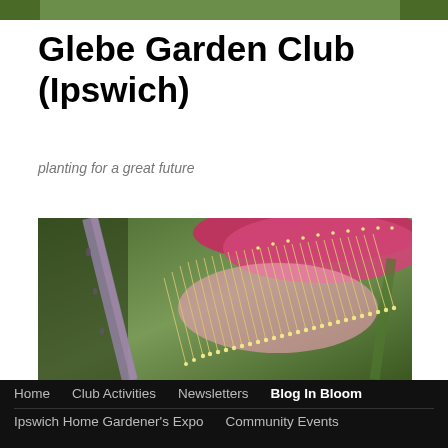Glebe Garden Club (Ipswich)
planting for a great future
[Figure (photo): Close-up macro photograph of a red/pink bottlebrush or similar flower with long stamens tipped with yellow pollen dots, soft green bokeh background]
Home
Club Activities
Newsletters
Blog In Bloom
Ipswich Home Gardener's Expo
Community Events
About Us
Photo Gallery
Contact Us